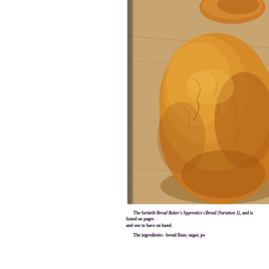[Figure (photo): A close-up photograph of a golden-brown rustic bread loaf resting on a wooden cutting board. The bread has a thick, crackled crust with a warm amber color. Another smaller bread or roll is partially visible at the top of the image.]
The fortieth Bread Baker's Apprentice challenge is Potato Bread (Variation 1), and is found on pages and one to have on hand.
The ingredients:  bread flour, sugar, po